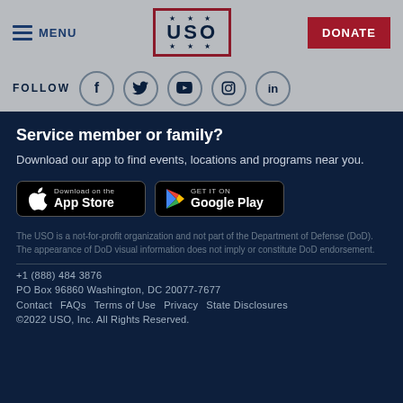MENU | USO | DONATE
FOLLOW
Service member or family?
Download our app to find events, locations and programs near you.
[Figure (screenshot): App Store and Google Play download buttons]
The USO is a not-for-profit organization and not part of the Department of Defense (DoD). The appearance of DoD visual information does not imply or constitute DoD endorsement.
+1 (888) 484 3876
PO Box 96860 Washington, DC 20077-7677
Contact   FAQs   Terms of Use   Privacy   State Disclosures
©2022 USO, Inc. All Rights Reserved.